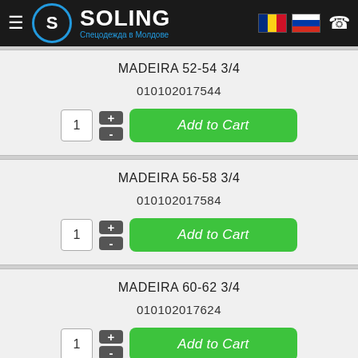SOLING — Спецодежда в Молдове
MADEIRA 52-54 3/4
010102017544
Add to Cart
MADEIRA 56-58 3/4
010102017584
Add to Cart
MADEIRA 60-62 3/4
010102017624
Add to Cart